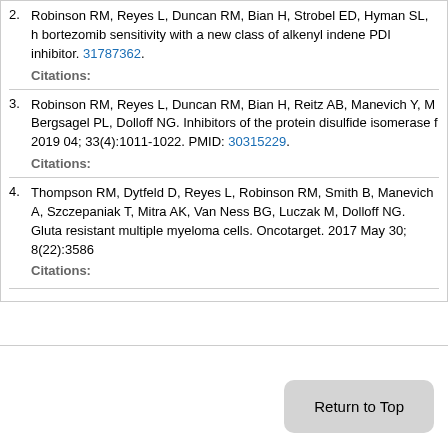2. Robinson RM, Reyes L, Duncan RM, Bian H, Strobel ED, Hyman SL, ... bortezomib sensitivity with a new class of alkenyl indene PDI inhibitor. PMID: 31787362.
Citations:
3. Robinson RM, Reyes L, Duncan RM, Bian H, Reitz AB, Manevich Y, M... Bergsagel PL, Dolloff NG. Inhibitors of the protein disulfide isomerase f... 2019 04; 33(4):1011-1022. PMID: 30315229.
Citations:
4. Thompson RM, Dytfeld D, Reyes L, Robinson RM, Smith B, Manevich... A, Szczepaniak T, Mitra AK, Van Ness BG, Luczak M, Dolloff NG. Gluta... resistant multiple myeloma cells. Oncotarget. 2017 May 30; 8(22):3586...
Citations:
Return to Top